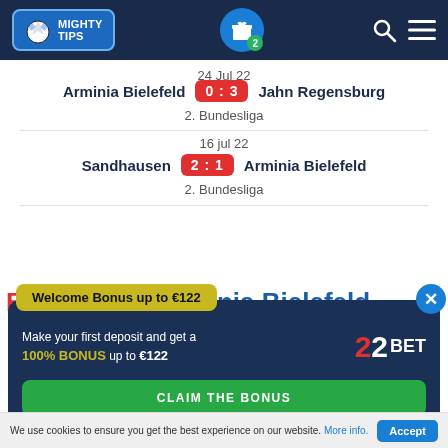[Figure (screenshot): Mighty Tips website header with logo, gift icon with badge '2', search icon, and hamburger menu on dark blue background]
24 Jul 22
Arminia Bielefeld 0:3 Jahn Regensburg
2. Bundesliga
16 jul 22
Sandhausen 2:1 Arminia Bielefeld
2. Bundesliga
Ba... inia Bielefeld (partial background text)
[Figure (infographic): 22BET Welcome Bonus popup overlay showing 'Welcome Bonus up to €122' header, body text 'Make your first deposit and get a 100% BONUS up to €122', 22BET logo, green CLAIM THE BONUS button, and close X button]
We use cookies to ensure you get the best experience on our website. More info.
Accept